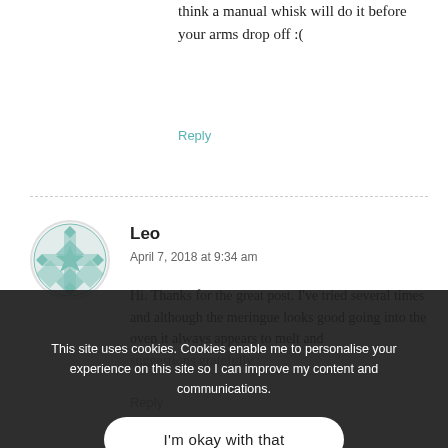think a manual whisk will do it before your arms drop off :(
Reply
Leo
April 7, 2018 at 9:34 am
Hi. Thanks for the great post. I've tried several times and although the meringue looks good going into the oven it always appears to melt and... suggestions gratefully
This site uses cookies. Cookies enable me to personalise your experience on this site so I can improve my content and communications.
I'm okay with that
Reply